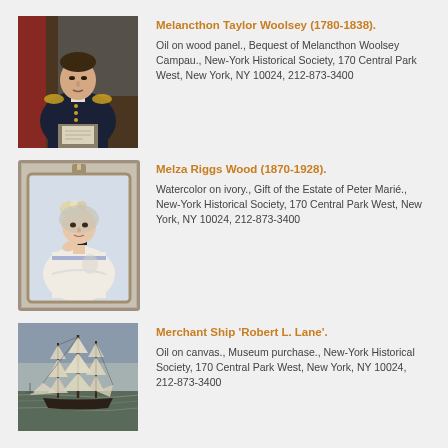[Figure (photo): Portrait painting of Melancthon Taylor Woolsey, a man in naval uniform seated at a desk]
Melancthon Taylor Woolsey (1780-1838). Oil on wood panel., Bequest of Melancthon Woolsey Campau., New-York Historical Society, 170 Central Park West, New York, NY 10024, 212-873-3400
[Figure (photo): Miniature watercolor portrait of Melza Riggs Wood, a woman in elaborate white dress with flowers in hair, in a framed locket]
Melza Riggs Wood (1870-1928). Watercolor on ivory., Gift of the Estate of Peter Marié., New-York Historical Society, 170 Central Park West, New York, NY 10024, 212-873-3400
[Figure (photo): Oil painting of a merchant sailing ship Robert L. Lane on water]
Merchant Ship 'Robert L. Lane'. Oil on canvas., Museum purchase., New-York Historical Society, 170 Central Park West, New York, NY 10024, 212-873-3400